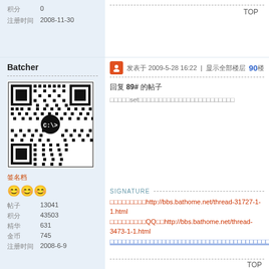积分 0
注册时间 2008-11-30
TOP
Batcher
[Figure (other): QR code with C:\> logo in center]
签名档
😊😊😊
帖子 13041
积分 43503
精华 631
金币 745
注册时间 2008-6-9
发表于 2009-5-28 16:22 | 显示全部楼层 90 楼
回复 89# 的帖子
用变量名set变量值的方式设置了一个什么什么变量
SIGNATURE
视频教程地址http://bbs.bathome.net/thread-31727-1-1.html 加我QQ群http://bbs.bathome.net/thread-3473-1-1.html
TOP